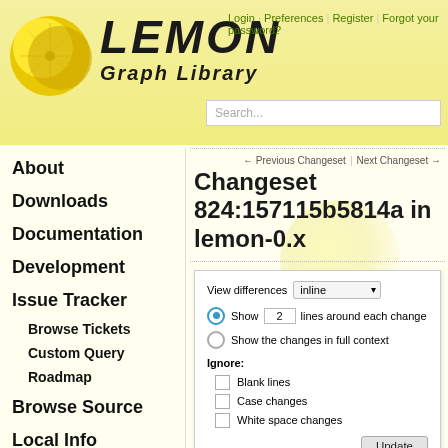LEMON Graph Library — Login | Preferences | Register | Forgot your password?
Changeset 824:157115b5814a in lemon-0.x
← Previous Changeset | Next Changeset →
[Figure (screenshot): View differences control panel with inline dropdown, Show 2 lines around each change radio, Show the changes in full context radio, Ignore checkboxes for Blank lines / Case changes / White space changes, and Update button]
Timestamp: 09/09/04 09:09:11 (18 years ago)
Author: Alpar Juttner
About
Downloads
Documentation
Development
Issue Tracker
Browse Tickets
Custom Query
Roadmap
Browse Source
Local Info
Mailing Lists